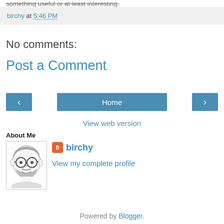something useful or at least interesting.
birchy at 5:46 PM
No comments:
Post a Comment
Home
View web version
About Me
[Figure (illustration): Cartoon illustration of an older bearded man with glasses]
birchy
View my complete profile
Powered by Blogger.